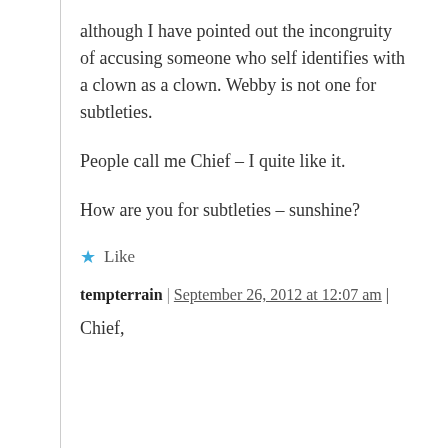although I have pointed out the incongruity of accusing someone who self identifies with a clown as a clown. Webby is not one for subtleties.
People call me Chief – I quite like it.
How are you for subtleties – sunshine?
★ Like
tempterrain | September 26, 2012 at 12:07 am |
Chief,